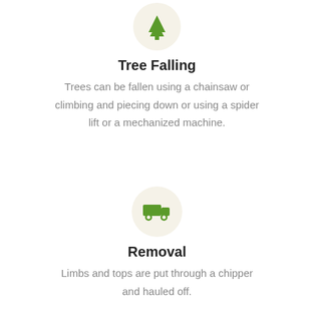[Figure (illustration): Green tree icon inside a light beige/cream circle]
Tree Falling
Trees can be fallen using a chainsaw or climbing and piecing down or using a spider lift or a mechanized machine.
[Figure (illustration): Green truck/vehicle icon inside a light beige/cream circle]
Removal
Limbs and tops are put through a chipper and hauled off.